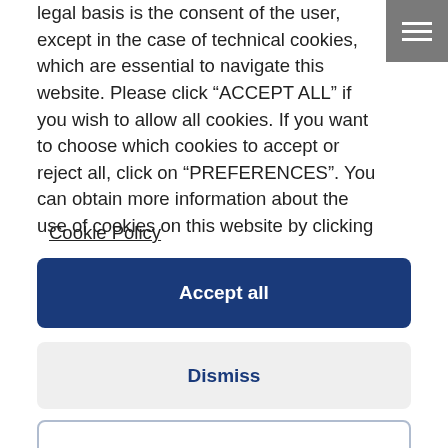legal basis is the consent of the user, except in the case of technical cookies, which are essential to navigate this website. Please click “ACCEPT ALL” if you wish to allow all cookies. If you want to choose which cookies to accept or reject all, click on "PREFERENCES". You can obtain more information about the use of cookies on this website by clicking
Cookie Policy
Accept all
Dismiss
Preferences
U3-E05. Bohdan miniblocks